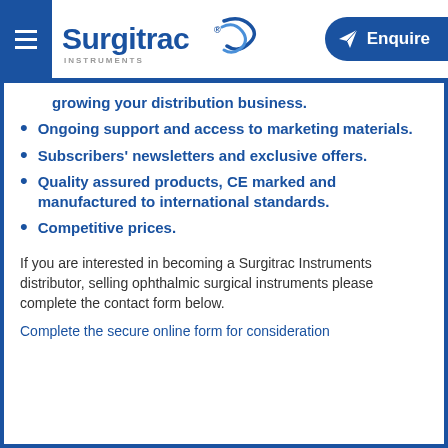Surgitrac Instruments — Enquire
growing your distribution business.
Ongoing support and access to marketing materials.
Subscribers' newsletters and exclusive offers.
Quality assured products, CE marked and manufactured to international standards.
Competitive prices.
If you are interested in becoming a Surgitrac Instruments distributor, selling ophthalmic surgical instruments please complete the contact form below.
Complete the secure online form for consideration